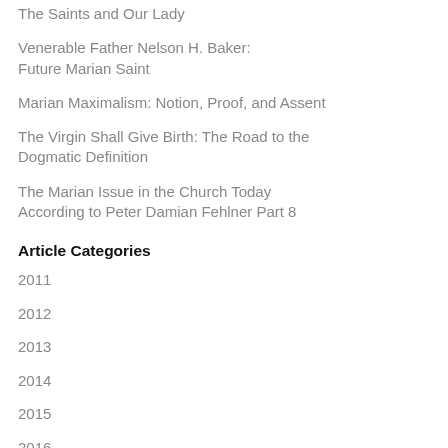The Saints and Our Lady
Venerable Father Nelson H. Baker: Future Marian Saint
Marian Maximalism: Notion, Proof, and Assent
The Virgin Shall Give Birth: The Road to the Dogmatic Definition
The Marian Issue in the Church Today According to Peter Damian Fehlner Part 8
Article Categories
2011
2012
2013
2014
2015
2016